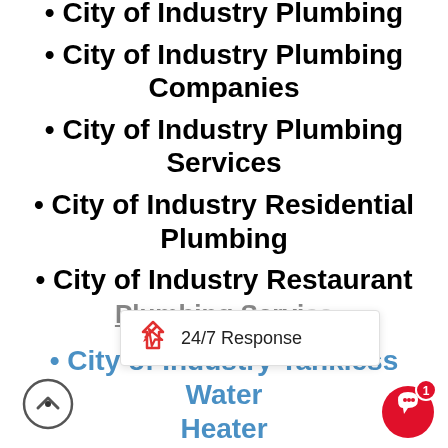City of Industry Plumbing
City of Industry Plumbing Companies
City of Industry Plumbing Services
City of Industry Residential Plumbing
City of Industry Restaurant Plumbing Services
City of Industry Tankless Water Heater
City of Industry Tankless Water Heater Installation
24/7 Response